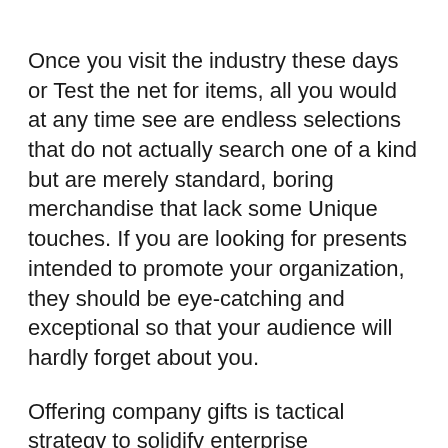Once you visit the industry these days or Test the net for items, all you would at any time see are endless selections that do not actually search one of a kind but are merely standard, boring merchandise that lack some Unique touches. If you are looking for presents intended to promote your organization, they should be eye-catching and exceptional so that your audience will hardly forget about you.
Offering company gifts is tactical strategy to solidify enterprise associations together with to draw in new customers. A very well-preferred company reward Advantages you with an excellent return of financial investment and sooner or later make your